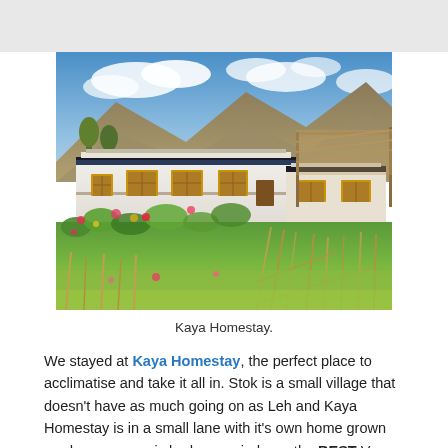[Figure (photo): Photograph of Kaya Homestay, a white traditional Ladakhi-style building with decorative trim, wooden windows, and colourful garden in the foreground, with mountains and blue sky in the background. A bamboo pergola structure is visible on the right side.]
Kaya Homestay.
We stayed at Kaya Homestay, the perfect place to acclimatise and take it all in. Stok is a small village that doesn't have as much going on as Leh and Kaya Homestay is in a small lane with it's own home grown garden, panoramic bedroom windows, the BEST Vegan